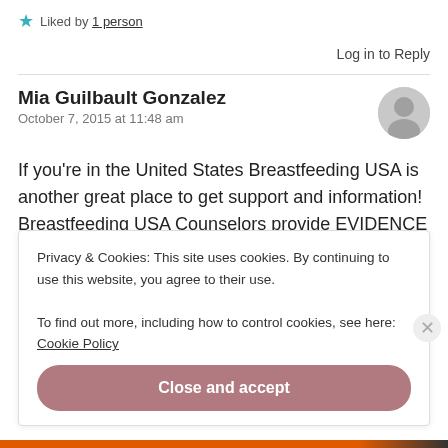★ Liked by 1 person
Log in to Reply
Mia Guilbault Gonzalez
October 7, 2015 at 11:48 am
If you're in the United States Breastfeeding USA is another great place to get support and information! Breastfeeding USA Counselors provide EVIDENCE BASED information (unlike too many
Privacy & Cookies: This site uses cookies. By continuing to use this website, you agree to their use.
To find out more, including how to control cookies, see here: Cookie Policy
Close and accept